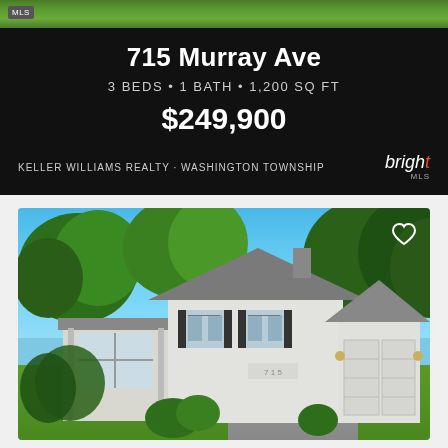[Figure (screenshot): Real estate listing card with black background showing property at 715 Murray Ave with grass/greenery strip at top]
715 Murray Ave
3 BEDS • 1 BATH • 1,200 SQ FT
$249,900
KELLER WILLIAMS REALTY · WASHINGTON TOWNSHIP
[Figure (photo): Exterior photo of a two-story white colonial-style house with black shutters, attached two-car garage, large trees in background, green lawn in foreground, bright blue sky]